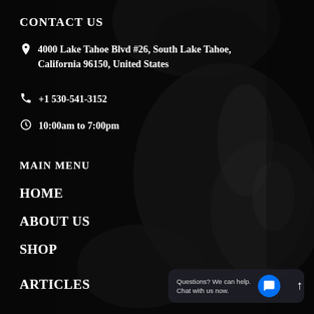CONTACT US
🏠 4000 Lake Tahoe Blvd #26, South Lake Tahoe, California 96150, United States
📞 +1 530-541-3152
🕐 10:00am to 7:00pm
MAIN MENU
HOME
ABOUT US
SHOP
ARTICLES
Questions? We can help. Chat with us now.